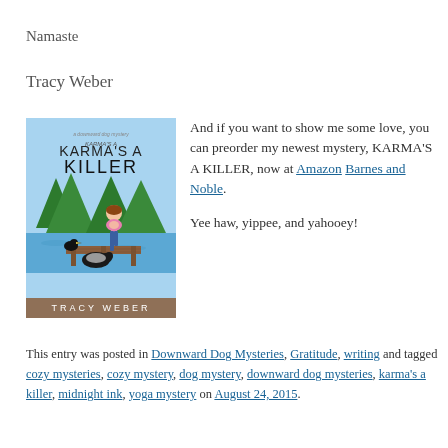Namaste
Tracy Weber
[Figure (illustration): Book cover for 'Karma's A Killer' by Tracy Weber, showing a woman doing yoga on a dock with a dog and a crow, water and trees in background.]
And if you want to show me some love, you can preorder my newest mystery, KARMA'S A KILLER, now at Amazon Barnes and Noble.

Yee haw, yippee, and yahooey!
This entry was posted in Downward Dog Mysteries, Gratitude, writing and tagged cozy mysteries, cozy mystery, dog mystery, downward dog mysteries, karma's a killer, midnight ink, yoga mystery on August 24, 2015.